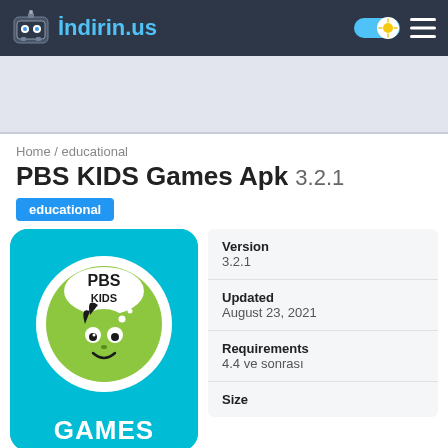İndirin.us
[Figure (screenshot): Banner/advertisement area with light gray background]
Home / educational
PBS KIDS Games Apk 3.2.1
educational
[Figure (logo): PBS KIDS Games app logo on cyan/blue background showing PBS KIDS green circle logo with cartoon kid face and GAMES text]
| Label | Value |
| --- | --- |
| Version | 3.2.1 |
| Updated | August 23, 2021 |
| Requirements | 4.4 ve sonrası |
| Size |  |